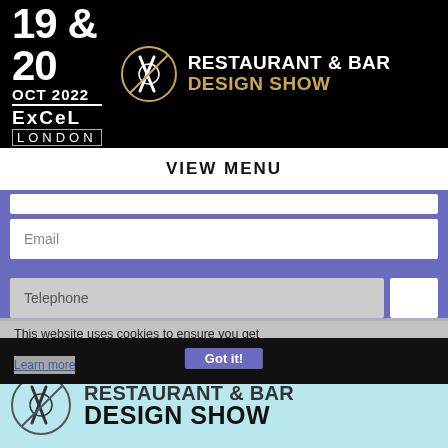[Figure (logo): Restaurant & Bar Design Show header banner with date 19 & 20 OCT 2022, ExCeL London, and circular fork/knife logo on black background]
VIEW MENU
Email
Telephone
Submit
This website uses cookies to ensure you get the best experience on our website.
Learn more
Got it!
[Figure (logo): Restaurant & Bar Design Show logo on light blue background with circular fork/knife icon]